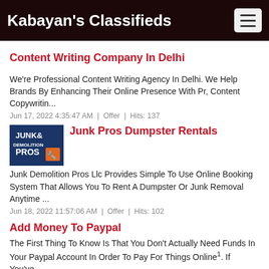Kabayan's Classifieds
Content Writing Company In Delhi
We're Professional Content Writing Agency In Delhi. We Help Brands By Enhancing Their Online Presence With Pr, Content Copywritin...
Jun 17, 2022 4:35:47 AM  |  Offer  |  Hits: 137
Junk Pros Dumpster Rentals
Junk Demolition Pros Llc Provides Simple To Use Online Booking System That Allows You To Rent A Dumpster Or Junk Removal Anytime ...
Jun 18, 2022 11:57:06 AM  |  Offer  |  Hits: 102
Add Money To Paypal
The First Thing To Know Is That You Don't Actually Need Funds In Your Paypal Account In Order To Pay For Things Online¹. If You've...
Jun 23, 2022 10:27:42 AM  |  Offer  |  Hits: 137
Plant Powered Vegan Restaurant